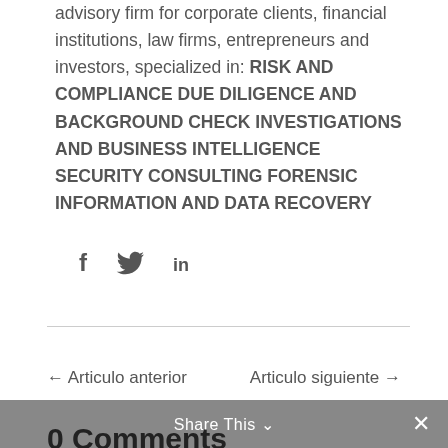advisory firm for corporate clients, financial institutions, law firms, entrepreneurs and investors, specialized in: RISK AND COMPLIANCE DUE DILIGENCE AND BACKGROUND CHECK INVESTIGATIONS AND BUSINESS INTELLIGENCE SECURITY CONSULTING FORENSIC INFORMATION AND DATA RECOVERY
[Figure (other): Social media icons: Facebook (f), Twitter (bird), LinkedIn (in)]
← Articulo anterior
Articulo siguiente →
Share This ∨  ✕
0 Comments